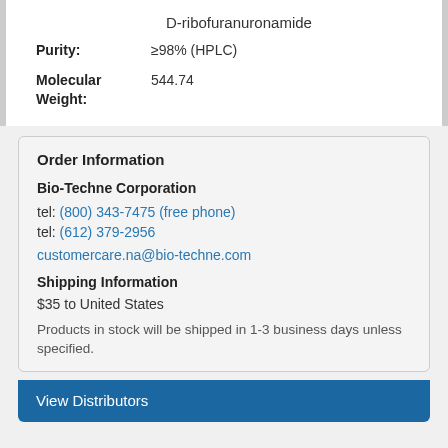D-ribofuranuronamide
Purity: ≥98% (HPLC)
Molecular Weight: 544.74
Order Information
Bio-Techne Corporation
tel: (800) 343-7475 (free phone)
tel: (612) 379-2956
customercare.na@bio-techne.com
Shipping Information
$35 to United States
Products in stock will be shipped in 1-3 business days unless specified.
View Distributors